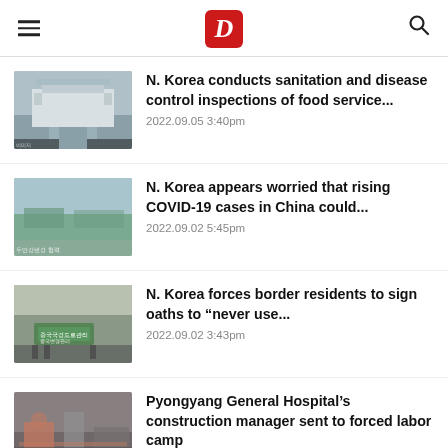D (Daily NK logo)
N. Korea conducts sanitation and disease control inspections of food service...
2022.09.05 3:40pm
N. Korea appears worried that rising COVID-19 cases in China could...
2022.09.02 5:45pm
N. Korea forces border residents to sign oaths to “never use...
2022.09.02 3:43pm
Pyongyang General Hospital’s construction manager sent to forced labor camp
2022.09.02 11:15am